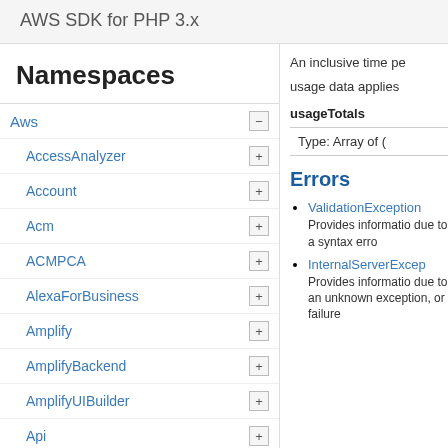AWS SDK for PHP 3.x
Namespaces
Aws
AccessAnalyzer
Account
Acm
ACMPCA
AlexaForBusiness
Amplify
AmplifyBackend
AmplifyUIBuilder
Api
ApiGateway
ApiGatewayManagementApi
An inclusive time pe
usage data applies
usageTotals
Type: Array of (
Errors
ValidationException
Provides informatio due to a syntax erro
InternalServerExcep
Provides informatio due to an unknown exception, or failure